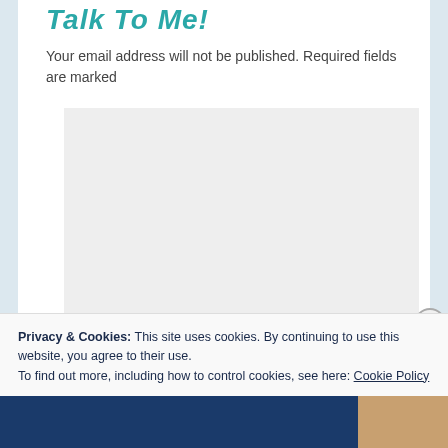Talk To Me!
Your email address will not be published. Required fields are marked
[Figure (other): Empty light gray textarea/comment input box]
Privacy & Cookies: This site uses cookies. By continuing to use this website, you agree to their use.
To find out more, including how to control cookies, see here: Cookie Policy
Close and accept